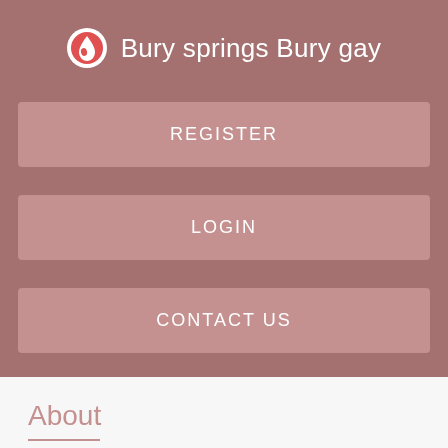Bury springs Bury gay
REGISTER
LOGIN
CONTACT US
About
When you are looking for ways to relax after a long day at work or a stressful week, you need an easy way to find the right spa. Find Us Now makes it easier to actually compare spas in your area and pick the one that offers exactly what you need.